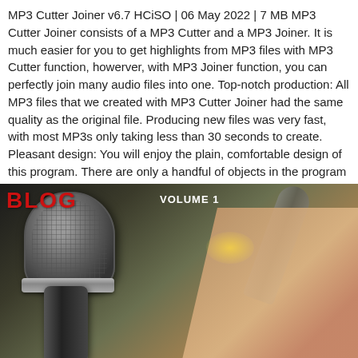MP3 Cutter Joiner v6.7 HCiSO | 06 May 2022 | 7 MB MP3 Cutter Joiner consists of a MP3 Cutter and a MP3 Joiner. It is much easier for you to get highlights from MP3 files with MP3 Cutter function, howerver, with MP3 Joiner function, you can perfectly join many audio files into one. Top-notch production: All MP3 files that we created with MP3 Cutter Joiner had the same quality as the original file. Producing new files was very fast, with most MP3s only taking less than 30 seconds to create. Pleasant design: You will enjoy the plain, comfortable design of this program. There are only a handful of objects in the program window, which we found to be a streamlining aspect of MP3 Cutter Joiner. (more…)
[Figure (photo): Photo of a close-up microphone (dark handheld mic) angled diagonally from lower-left to upper-right, with a hand visible on the right side holding another microphone. The image has warm amber/brown tones. At the top of the image is red bold text partially visible, and white text reading 'VOLUME 1'.]